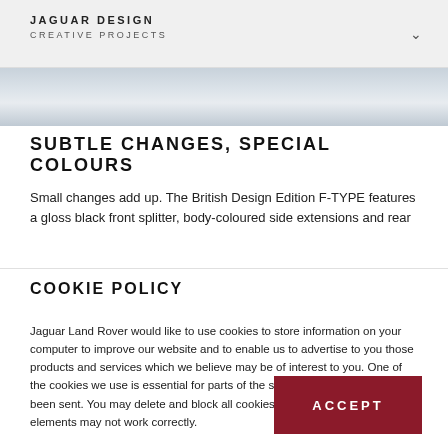JAGUAR DESIGN
CREATIVE PROJECTS
[Figure (photo): Abstract gradient image strip showing a silver/grey automotive surface or design element]
SUBTLE CHANGES, SPECIAL COLOURS
Small changes add up. The British Design Edition F-TYPE features a gloss black front splitter, body-coloured side extensions and rear spoiler, with five colours available, all new on F. The palette d...
COOKIE POLICY
Jaguar Land Rover would like to use cookies to store information on your computer to improve our website and to enable us to advertise to you those products and services which we believe may be of interest to you. One of the cookies we use is essential for parts of the site to work and has already been sent. You may delete and block all cookies from this site but some elements may not work correctly.
ACCEPT